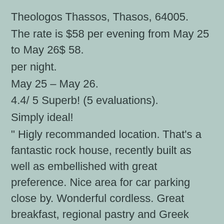Theologos Thassos, Thasos, 64005.
The rate is $58 per evening from May 25 to May 26$ 58.
per night.
May 25 – May 26.
4.4/ 5 Superb! (5 evaluations).
Simply ideal!
" Higly recommanded location. That's a fantastic rock house, recently built as well as embellished with great preference. Nice area for car parking close by. Wonderful cordless. Great breakfast, regional pastry and Greek certain sweets. Very warm and also enjoyable